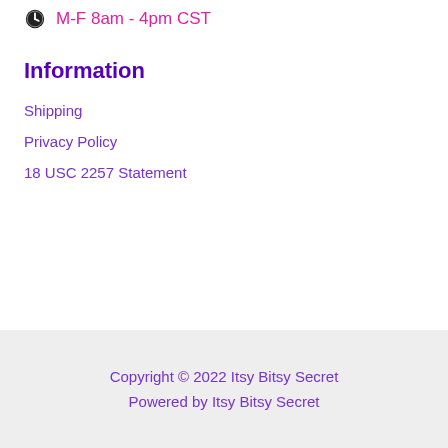M-F 8am - 4pm CST
Information
Shipping
Privacy Policy
18 USC 2257 Statement
Copyright © 2022 Itsy Bitsy Secret
Powered by Itsy Bitsy Secret